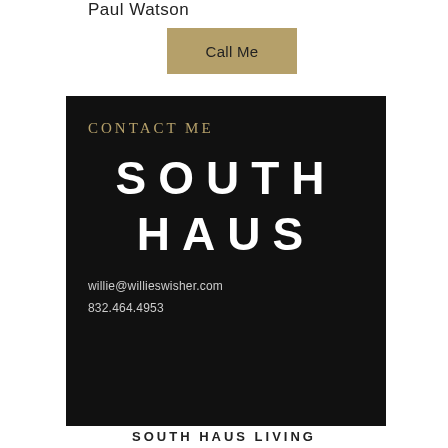Paul Watson
Call Me
[Figure (logo): South Haus real estate contact card on black background with gold 'CONTACT ME' header, large white 'SOUTH HAUS' logo text, email willie@willieswisher.com and phone 832.464.4953]
SOUTH HAUS LIVING